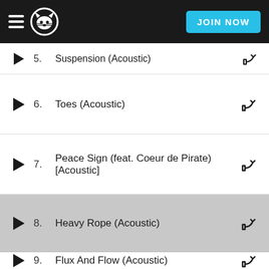Napster — JOIN NOW
5. Suspension (Acoustic)
6. Toes (Acoustic)
7. Peace Sign (feat. Coeur de Pirate) [Acoustic]
8. Heavy Rope (Acoustic)
9. Flux And Flow (Acoustic)